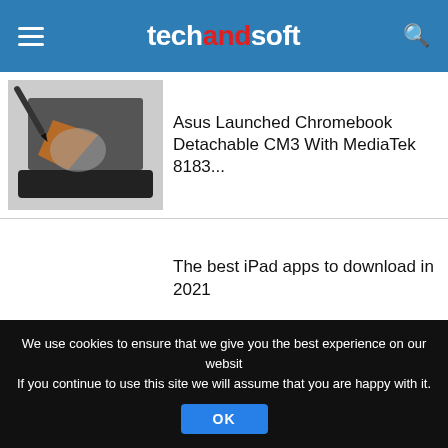techandsoft
Asus Launched Chromebook Detachable CM3 With MediaTek 8183...
The best iPad apps to download in 2021
The best 2-in-1 laptop 2021: Choose the best...
We use cookies to ensure that we give you the best experience on our website. If you continue to use this site we will assume that you are happy with it.